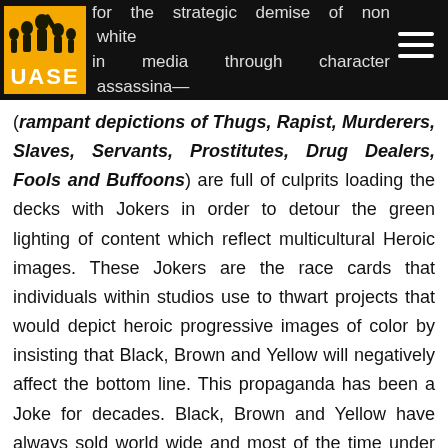...for the strategic demise of non white in media through character assassination
[Figure (logo): UASE logo with silhouette figures on orange/yellow background and hamburger menu icon]
(rampant depictions of Thugs, Rapist, Murderers, Slaves, Servants, Prostitutes, Drug Dealers, Fools and Buffoons) are full of culprits loading the decks with Jokers in order to detour the green lighting of content which reflect multicultural Heroic images. These Jokers are the race cards that individuals within studios use to thwart projects that would depict heroic progressive images of color by insisting that Black, Brown and Yellow will negatively affect the bottom line. This propaganda has been a Joke for decades. Black, Brown and Yellow have always sold world wide and most of the time under extreme circumstances. Take the Blaxploitation era for instance, many would argue that those films saved Hollywood in the 70's. 80's films like Berry Gordy's The Last Dragon, and 90's Super Hero fix Spawn and Blade all...